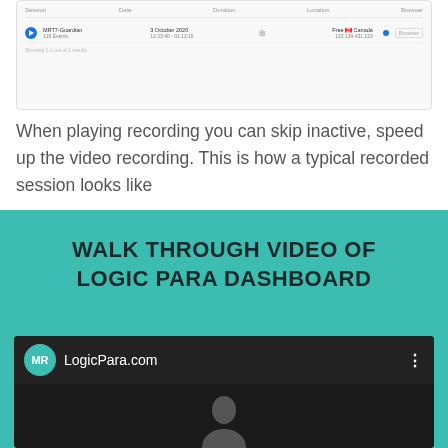[Figure (screenshot): Screenshot of a dashboard table showing a session recording row with play button, date (3 October 2020), a snowflake icon, and a Free Canada flag entry, with a Browser tag, and a footer showing 'Showing 1-1 out of 1 results']
When playing recording you can skip inactive, speed up the video recording. This is how a typical recorded session looks like
WALK THROUGH VIDEO OF LOGIC PARA DASHBOARD
[Figure (screenshot): YouTube-style video player header showing MR avatar in teal circle, channel name 'LogicPara.com', and a three-dot menu icon, on a dark background]